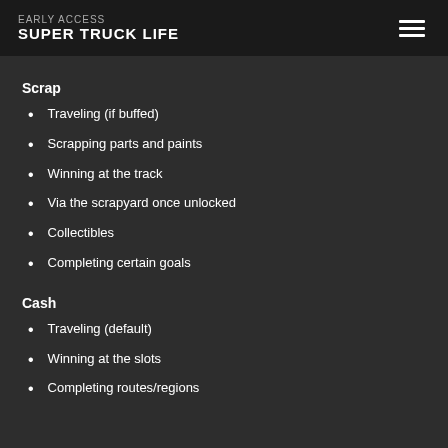EARLY ACCESS SUPER TRUCK LIFE
Scrap
Traveling (if buffed)
Scrapping parts and paints
Winning at the track
Via the scrapyard once unlocked
Collectibles
Completing certain goals
Cash
Traveling (default)
Winning at the slots
Completing routes/regions